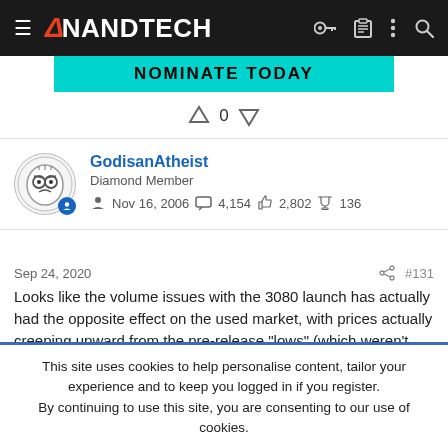AnandTech
[Figure (screenshot): Cyan 'NOMINATE TODAY' banner button]
0
GodisanAtheist
Diamond Member
Nov 16, 2006  4,154  2,802  136
Sep 24, 2020  #131
Looks like the volume issues with the 3080 launch has actually had the opposite effect on the used market, with prices actually creeping upward from the pre-release "lows" (which weren't that great).
This site uses cookies to help personalise content, tailor your experience and to keep you logged in if you register.
By continuing to use this site, you are consenting to our use of cookies.